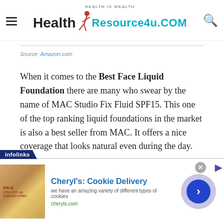HEALTH IS WEALTH Health Resource4u.COM
Source: Amazon.com
When it comes to the Best Face Liquid Foundation there are many who swear by the name of MAC Studio Fix Fluid SPF15. This one of the top ranking liquid foundations in the market is also a best seller from MAC. It offers a nice coverage that looks natural even during the day.
[Figure (other): Infolinks advertisement banner for Cheryl's Cookie Delivery with image of cookies/sale, ad title, description, and call-to-action button]